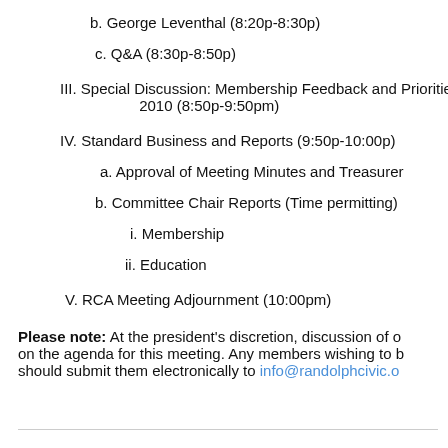b. George Leventhal (8:20p-8:30p)
c. Q&A (8:30p-8:50p)
III. Special Discussion: Membership Feedback and Priorities for 2010 (8:50p-9:50pm)
IV. Standard Business and Reports (9:50p-10:00p)
a. Approval of Meeting Minutes and Treasurer's Report
b. Committee Chair Reports (Time permitting)
i. Membership
ii. Education
V. RCA Meeting Adjournment (10:00pm)
Please note: At the president's discretion, discussion of other topics may be added on the agenda for this meeting. Any members wishing to bring up additional topics should submit them electronically to info@randolphcivic.org